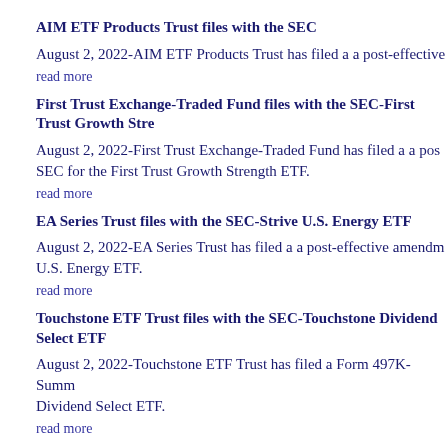AIM ETF Products Trust files with the SEC
August 2, 2022-AIM ETF Products Trust has filed a a post-effective
read more
First Trust Exchange-Traded Fund files with the SEC-First Trust Growth Stre
August 2, 2022-First Trust Exchange-Traded Fund has filed a a post-effective amendment with the SEC for the First Trust Growth Strength ETF.
read more
EA Series Trust files with the SEC-Strive U.S. Energy ETF
August 2, 2022-EA Series Trust has filed a a post-effective amendment with the SEC for the Strive U.S. Energy ETF.
read more
Touchstone ETF Trust files with the SEC-Touchstone Dividend Select ETF
August 2, 2022-Touchstone ETF Trust has filed a Form 497K-Summary Prospectus with the SEC for the Touchstone Dividend Select ETF.
read more
Spinnaker ETF Series files with the SEC-VectorShares Min Vol ETF
August 2, 2022-Spinnaker ETF Series has filed a Form 497K-Summary Prospectus with the SEC for the VectorShares Min Vol ETF.
read more